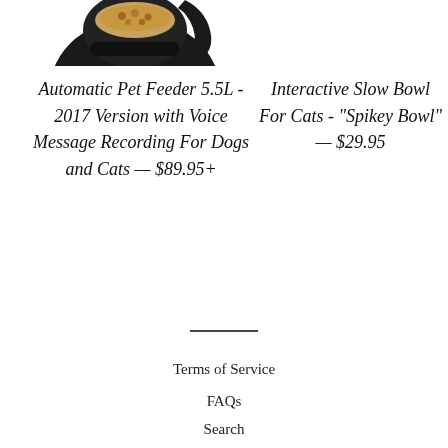[Figure (photo): Black automatic pet feeder product image shown at top left]
Automatic Pet Feeder 5.5L - 2017 Version with Voice Message Recording For Dogs and Cats — $89.95+
Interactive Slow Bowl For Cats - "Spikey Bowl" — $29.95
Terms of Service
FAQs
Search